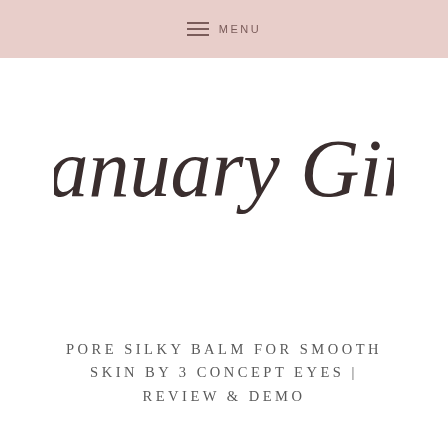MENU
[Figure (logo): January Girl cursive script logo in dark brown/charcoal color on white background]
PORE SILKY BALM FOR SMOOTH SKIN BY 3 CONCEPT EYES | REVIEW & DEMO